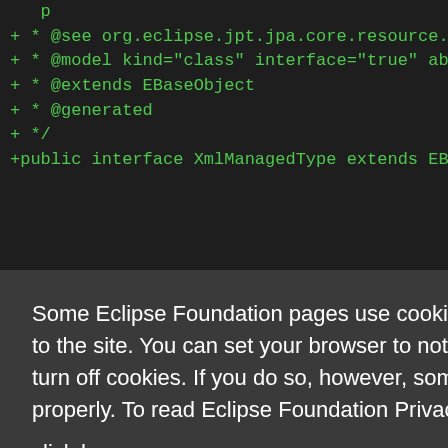[Figure (screenshot): Code editor screenshot showing green text on dark background with Java/EMF code lines including @see, @model, @extends EBaseObject, @generated, */ and +public interface XmlManagedType extends EBaseObj... followed by partial code lines with <b>Class, class Name=, a descr, >Class Na, .resource, emf.ecore]
Some Eclipse Foundation pages use cookies to better serve you when you return to the site. You can set your browser to notify you before you receive a cookie or turn off cookies. If you do so, however, some areas of some sites may not function properly. To read Eclipse Foundation Privacy Policy
click here.
Decline
Allow cookies